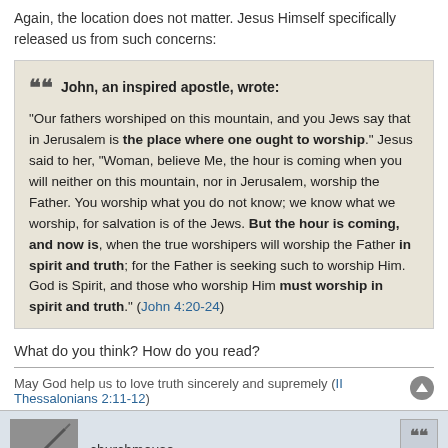Again, the location does not matter. Jesus Himself specifically released us from such concerns:
John, an inspired apostle, wrote: "Our fathers worshiped on this mountain, and you Jews say that in Jerusalem is the place where one ought to worship." Jesus said to her, "Woman, believe Me, the hour is coming when you will neither on this mountain, nor in Jerusalem, worship the Father. You worship what you do not know; we know what we worship, for salvation is of the Jews. But the hour is coming, and now is, when the true worshipers will worship the Father in spirit and truth; for the Father is seeking such to worship Him. God is Spirit, and those who worship Him must worship in spirit and truth." (John 4:20-24)
What do you think? How do you read?
May God help us to love truth sincerely and supremely (II Thessalonians 2:11-12)
churchmouse
Re: Views on Worship
Mon Feb 02, 2015 5:49 pm
Thank you for your reply! I agree that where a congregation meets is not